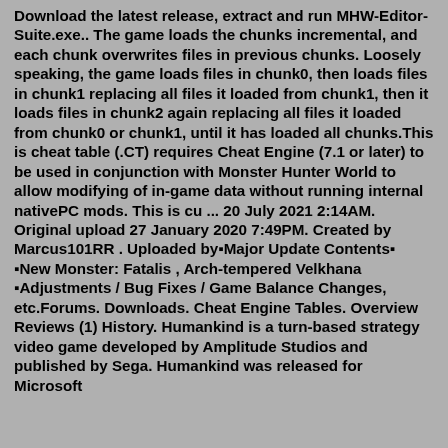Download the latest release, extract and run MHW-Editor-Suite.exe.. The game loads the chunks incremental, and each chunk overwrites files in previous chunks. Loosely speaking, the game loads files in chunk0, then loads files in chunk1 replacing all files it loaded from chunk1, then it loads files in chunk2 again replacing all files it loaded from chunk0 or chunk1, until it has loaded all chunks.This is cheat table (.CT) requires Cheat Engine (7.1 or later) to be used in conjunction with Monster Hunter World to allow modifying of in-game data without running internal nativePC mods. This is cu ... 20 July 2021 2:14AM. Original upload 27 January 2020 7:49PM. Created by Marcus101RR . Uploaded by▪Major Update Contents▪ ▪New Monster: Fatalis , Arch-tempered Velkhana ▪Adjustments / Bug Fixes / Game Balance Changes, etc.Forums. Downloads. Cheat Engine Tables. Overview Reviews (1) History. Humankind is a turn-based strategy video game developed by Amplitude Studios and published by Sega. Humankind was released for Microsoft